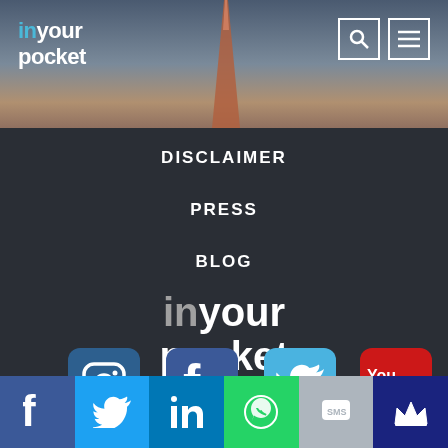[Figure (screenshot): Header area with city skyline/tower silhouette background]
in your
pocket
[Figure (other): Search icon button]
[Figure (other): Menu icon button]
DISCLAIMER
PRESS
BLOG
[Figure (logo): inyourpocket large logo]
[Figure (logo): Instagram icon]
[Figure (logo): Facebook icon]
[Figure (logo): Twitter icon]
[Figure (logo): YouTube icon]
[Figure (other): Bottom social media bar with Facebook, Twitter, LinkedIn, WhatsApp, Messenger, and crown icons]